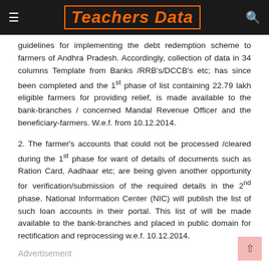Teachers Data
guidelines for implementing the debt redemption scheme to farmers of Andhra Pradesh. Accordingly, collection of data in 34 columns Template from Banks /RRB’s/DCCB’s etc; has since been completed and the 1st phase of list containing 22.79 lakh eligible farmers for providing relief, is made available to the bank-branches / concerned Mandal Revenue Officer and the beneficiary-farmers. W.e.f. from 10.12.2014.
2. The farmer’s accounts that could not be processed /cleared during the 1st phase for want of details of documents such as Ration Card, Aadhaar etc; are being given another opportunity for verification/submission of the required details in the 2nd phase. National Information Center (NIC) will publish the list of such loan accounts in their portal. This list of will be made available to the bank-branches and placed in public domain for rectification and reprocessing w.e.f. 10.12.2014.
Advertisement